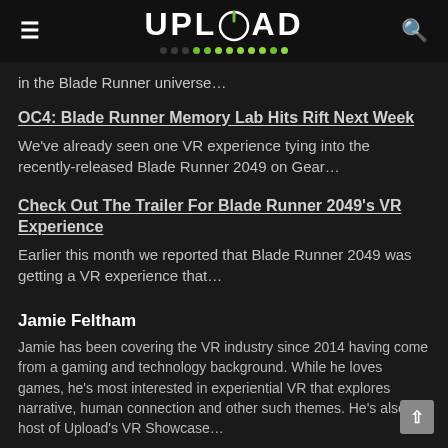UPLOAD
in the Blade Runner universe…
OC4: Blade Runner Memory Lab Hits Rift Next Week
We've already seen one VR experience tying into the recently-released Blade Runner 2049 on Gear…
Check Out The Trailer For Blade Runner 2049's VR Experience
Earlier this month we reported that Blade Runner 2049 was getting a VR experience that…
Jamie Feltham
Jamie has been covering the VR industry since 2014 having come from a gaming and technology background. While he loves games, he's most interested in experiential VR that explores narrative, human connection and other such themes. He's also the host of Upload's VR Showcase…